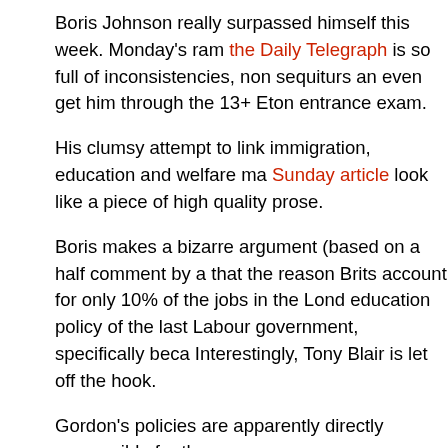Boris Johnson really surpassed himself this week. Monday's ram... the Daily Telegraph is so full of inconsistencies, non sequiturs an... even get him through the 13+ Eton entrance exam.
His clumsy attempt to link immigration, education and welfare ma... Sunday article look like a piece of high quality prose.
Boris makes a bizarre argument (based on a half comment by a... that the reason Brits account for only 10% of the jobs in the Lond... education policy of the last Labour government, specifically beca... Interestingly, Tony Blair is let off the hook.
Gordon's policies are apparently directly responsible for the poor... among our own population, in direct contrast to the highly motiva... apparently children are now leaving primary school unable to rea... because of Gordon Brown, so they aren't equipped to work in res... 11?
More pertinently, one of London's leading restaurateurs, who em... different nationalities but predominantly British, told me today the... correlation between nationality and work ethic; there are hardwo... nationalities and all age groups. I was also informed that the num... company, currently standing around 30%, is growing all the time... and school leavers and graduates start to think about hospitalit...